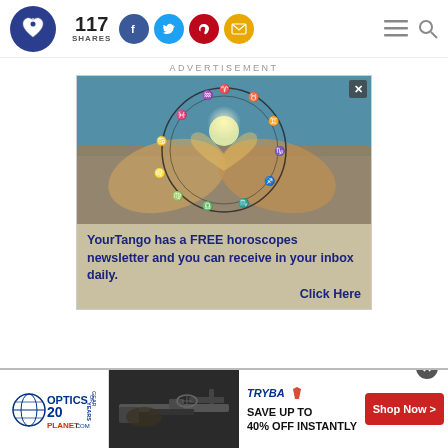[Figure (screenshot): Website header with YourTango logo (blue circle with heart), share count of 117 SHARES, social media buttons (Facebook, Twitter, Pinterest, Email), and menu/search icons on the right]
ADVERTISEMENT
[Figure (infographic): YourTango advertisement featuring hands forming a heart shape with zodiac wheel overlay and text: 'YourTango has a FREE horoscopes newsletter and you can receive in your inbox daily. Click Here']
[Figure (infographic): Bottom advertisement bar: Optics Planet 20 Years of Gear logo on left, photo of rifle/gun in center, Tryba logo with 'SAVE UP TO 40% OFF INSTANTLY' text and red 'Shop Now >' button on right]